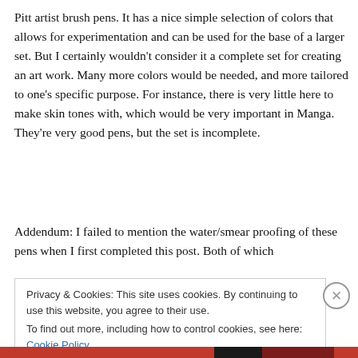Pitt artist brush pens. It has a nice simple selection of colors that allows for experimentation and can be used for the base of a larger set. But I certainly wouldn't consider it a complete set for creating an art work. Many more colors would be needed, and more tailored to one's specific purpose. For instance, there is very little here to make skin tones with, which would be very important in Manga. They're very good pens, but the set is incomplete.
Addendum: I failed to mention the water/smear proofing of these pens when I first completed this post. Both of which
Privacy & Cookies: This site uses cookies. By continuing to use this website, you agree to their use.
To find out more, including how to control cookies, see here: Cookie Policy